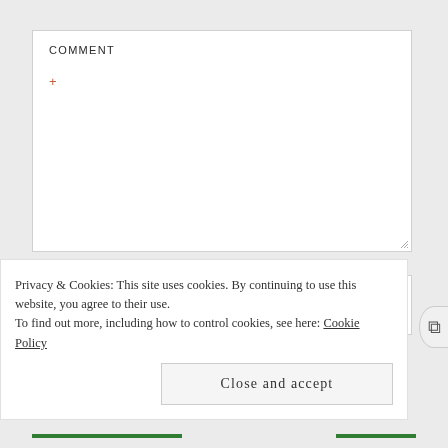COMMENT
+
NAME
Privacy & Cookies: This site uses cookies. By continuing to use this website, you agree to their use.
To find out more, including how to control cookies, see here: Cookie Policy
Close and accept